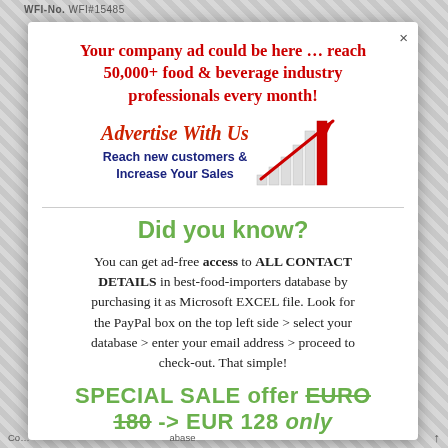WFI-No. WFI#15485
Your company ad could be here … reach 50,000+ food & beverage industry professionals every month!
[Figure (infographic): Advertise With Us banner with bar chart graphic and text: Reach new customers & Increase Your Sales]
Did you know?
You can get ad-free access to ALL CONTACT DETAILS in best-food-importers database by purchasing it as Microsoft EXCEL file. Look for the PayPal box on the top left side > select your database > enter your email address > proceed to check-out. That simple!
SPECIAL SALE offer EURO 180 -> EUR 128 only